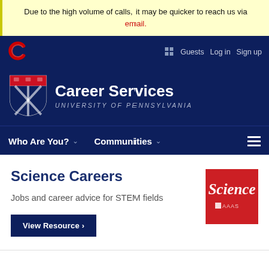Due to the high volume of calls, it may be quicker to reach us via email.
Career Services — University of Pennsylvania
Science Careers
Jobs and career advice for STEM fields
View Resource >
[Figure (logo): Science magazine logo — red background with 'Science' in white italic serif and AAAS logo below]